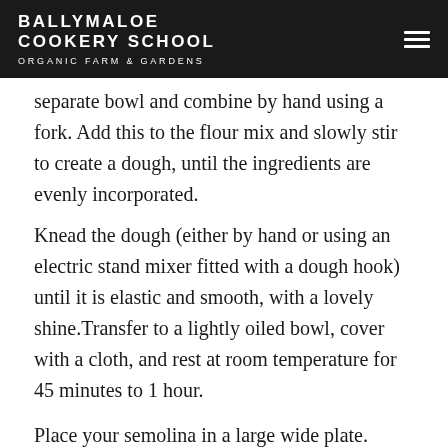BALLYMALOE COOKERY SCHOOL ORGANIC FARM & GARDENS
separate bowl and combine by hand using a fork. Add this to the flour mix and slowly stir to create a dough, until the ingredients are evenly incorporated.
Knead the dough (either by hand or using an electric stand mixer fitted with a dough hook) until it is elastic and smooth, with a lovely shine.Transfer to a lightly oiled bowl, cover with a cloth, and rest at room temperature for 45 minutes to 1 hour.
Place your semolina in a large wide plate.